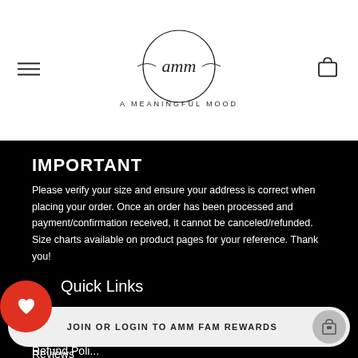[Figure (logo): AMM (A Meaningful Mood) logo with circular handwritten script and shopping bag icon and hamburger menu icon in header]
IMPORTANT
Please verify your size and ensure your address is correct when placing your order. Once an order has been processed and payment/confirmation received, it cannot be canceled/refunded.  Size charts available on product pages for your reference. Thank you!
Quick Links
Search
Contact Us
Reviews
FAQs
Size Charts
JOIN OR LOGIN TO AMM FAM REWARDS
Refund Poli...